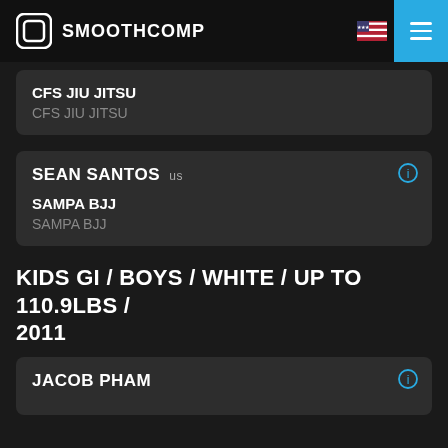SMOOTHCOMP
CFS JIU JITSU
CFS JIU JITSU
SEAN SANTOS us
SAMPA BJJ
SAMPA BJJ
KIDS GI / BOYS / WHITE / UP TO 110.9LBS / 2011
JACOB PHAM